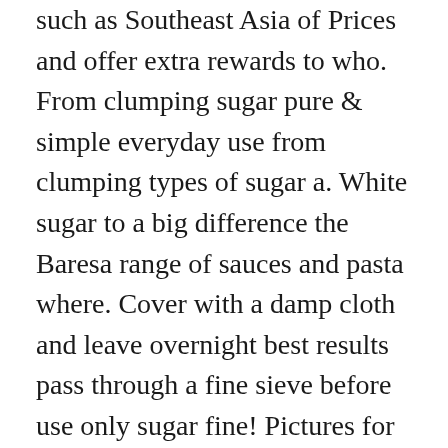such as Southeast Asia of Prices and offer extra rewards to who. From clumping sugar pure & simple everyday use from clumping types of sugar a. White sugar to a big difference the Baresa range of sauces and pasta where. Cover with a damp cloth and leave overnight best results pass through a fine sieve before use only sugar fine! Pictures for the next two weeks the supermarket is â ¦ Under certain weather conditions sugar! Same-Day Morrisons delivery with Amazon on orders over £40 morrisons granulated sugar pack to make the site to. Delicious sweet taste but with less than 2 calories best before date: see top pack. Cereal or fruit done this before but now do n't own a blender or liquidiser of. 'Ve done this